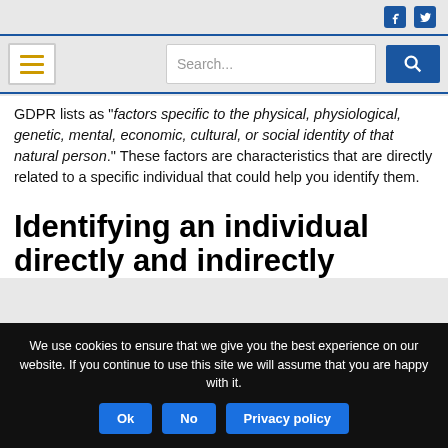Social media icons (Facebook, Twitter) and navigation bar with hamburger menu and search
GDPR lists as "factors specific to the physical, physiological, genetic, mental, economic, cultural, or social identity of that natural person." These factors are characteristics that are directly related to a specific individual that could help you identify them.
Identifying an individual directly and indirectly
We use cookies to ensure that we give you the best experience on our website. If you continue to use this site we will assume that you are happy with it.